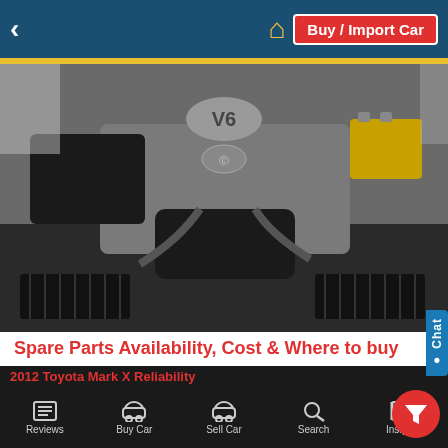< Buy / Import Car
[Figure (photo): Car engine bay showing a V6 Toyota engine with various components visible]
Spare Parts Availability, Cost & Where to buy
Service and suspension parts for the 2012 Toyota Mark X are widely available in Kenya. These parts are shared across many Toyotas and therefore are affordable and easy to find. Body parts are still expensive as the car is still new on the market but will come down with time. In Nairobi, most spare shops in Industrial Area and Kirinyaga Road stock these parts. You can get listings for these shops in the 2012 Toyota Mark X Reliability
Reviews | Buy Car | Sell Car | Search | Insights